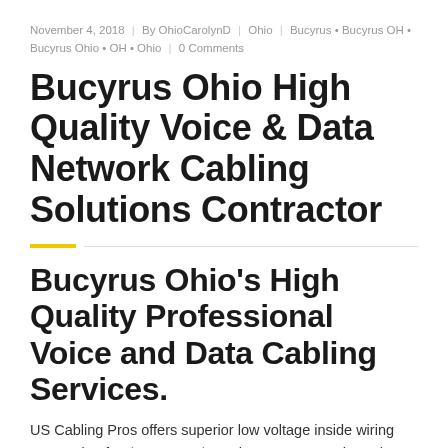November 4, 2018 | By OhioCarolynD | Ohio | Bucyrus • Bucyrus OH • Bucyrus Ohio • OH • Ohio | 0 Comments
Bucyrus Ohio High Quality Voice & Data Network Cabling Solutions Contractor
Bucyrus Ohio's High Quality Professional Voice and Data Cabling Services.
US Cabling Pros offers superior low voltage inside wiring contracting for data network & telecom systems throughout the whole Bucyrus region. We provide high quality onsite data cabling solutions from top to bottom,